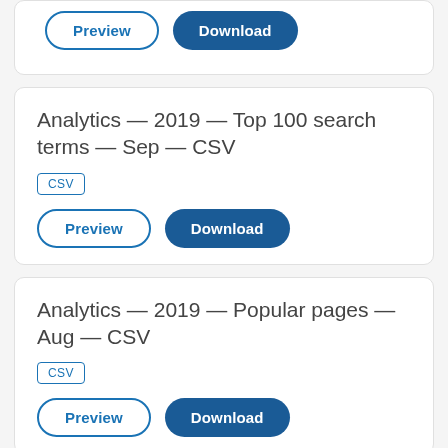Preview | Download (top card buttons, partially visible)
Analytics — 2019 — Top 100 search terms — Sep — CSV
CSV
Preview | Download
Analytics — 2019 — Popular pages — Aug — CSV
CSV
Preview | Download